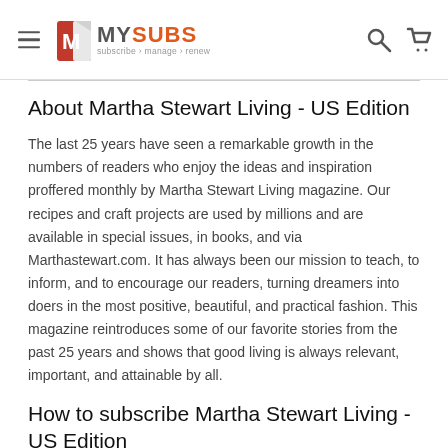MySubs - subscribe manage renew
About Martha Stewart Living - US Edition
The last 25 years have seen a remarkable growth in the numbers of readers who enjoy the ideas and inspiration proffered monthly by Martha Stewart Living magazine. Our recipes and craft projects are used by millions and are available in special issues, in books, and via Marthastewart.com. It has always been our mission to teach, to inform, and to encourage our readers, turning dreamers into doers in the most positive, beautiful, and practical fashion. This magazine reintroduces some of our favorite stories from the past 25 years and shows that good living is always relevant, important, and attainable by all.
How to subscribe Martha Stewart Living - US Edition